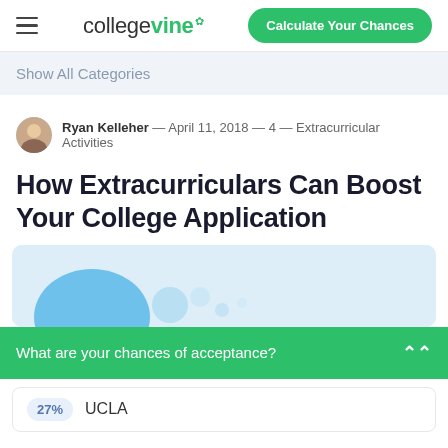college vine — Calculate Your Chances
Show All Categories
Ryan Kelleher — April 11, 2018 — 4 — Extracurricular Activities
How Extracurriculars Can Boost Your College Application
[Figure (illustration): Light blue decorative illustration area with rounded shape elements]
What are your chances of acceptance?
27% UCLA